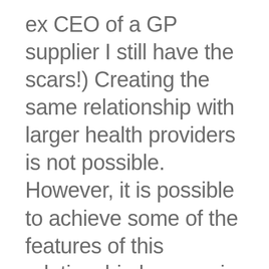ex CEO of a GP supplier I still have the scars!) Creating the same relationship with larger health providers is not possible. However, it is possible to achieve some of the features of this relationship by ensuring that frontline staff takes a leading role in procurement decisions (not just participate in the procurement), that personal and